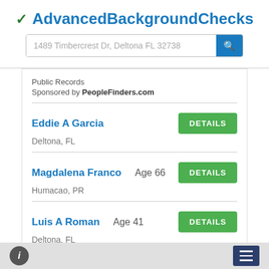AdvancedBackgroundChecks
1489 Timbercrest Dr, Deltona FL 32738
Public Records
Sponsored by PeopleFinders.com
Eddie A Garcia | Deltona, FL | DETAILS
Magdalena Franco | Age 66 | Humacao, PR | DETAILS
Luis A Roman | Age 41 | Deltona, FL | DETAILS
Eddie A Garcia | Age 67 | DETAILS